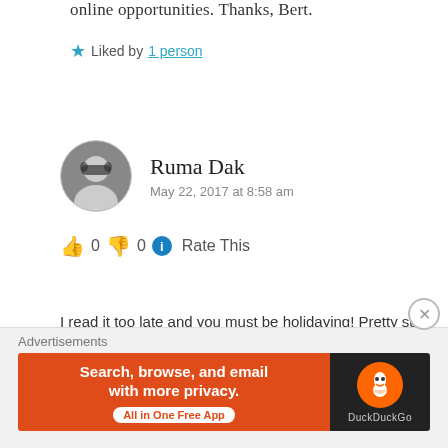online opportunities. Thanks, Bert.
★ Liked by 1 person
Ruma Dak
May 22, 2017 at 8:58 am
👍 0 👎 0 ℹ Rate This
I read it too late and you must be holidaying! Pretty sure oyu wil find something rocking soooon! Wish ya good luck!
★ Like
Advertisements
[Figure (screenshot): DuckDuckGo advertisement banner: orange background with text 'Search, browse, and email with more privacy. All in One Free App' and DuckDuckGo logo on dark background]